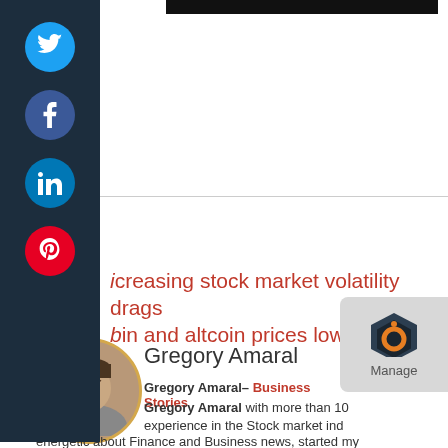[Figure (other): Social media sidebar with Twitter, Facebook, LinkedIn, Pinterest icons on dark navy background]
increasing stock market volatility drags bitcoin and altcoin prices lower
Despite The Pressure from Coinbase, Estonia Would Not Open Its Doors for Bitcoin Yet →
[Figure (photo): Author headshot of Gregory Amaral, circular cropped photo]
Gregory Amaral
Gregory Amaral– Business Stories
Gregory Amaral with more than 10 experience in the Stock market ind
energetic about Finance and Business news, started my
[Figure (logo): Manage.com logo overlay with hexagon icon]